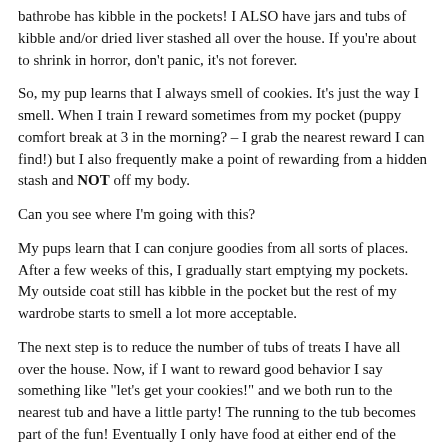bathrobe has kibble in the pockets! I ALSO have jars and tubs of kibble and/or dried liver stashed all over the house. If you're about to shrink in horror, don't panic, it's not forever.
So, my pup learns that I always smell of cookies. It's just the way I smell. When I train I reward sometimes from my pocket (puppy comfort break at 3 in the morning? – I grab the nearest reward I can find!) but I also frequently make a point of rewarding from a hidden stash and NOT off my body.
Can you see where I'm going with this?
My pups learn that I can conjure goodies from all sorts of places. After a few weeks of this, I gradually start emptying my pockets. My outside coat still has kibble in the pocket but the rest of my wardrobe starts to smell a lot more acceptable.
The next step is to reduce the number of tubs of treats I have all over the house. Now, if I want to reward good behavior I say something like "let's get your cookies!" and we both run to the nearest tub and have a little party! The running to the tub becomes part of the fun! Eventually I only have food at either end of the house and we run to either the kitchen or the bedroom to collect cookies. If I have a pup that loves toys I may run to a toy and have a game instead.